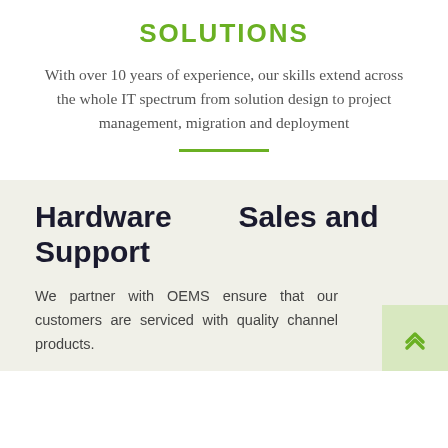SOLUTIONS
With over 10 years of experience, our skills extend across the whole IT spectrum from solution design to project management, migration and deployment
Hardware Sales and Support
We partner with OEMS ensure that our customers are serviced with quality channel products.